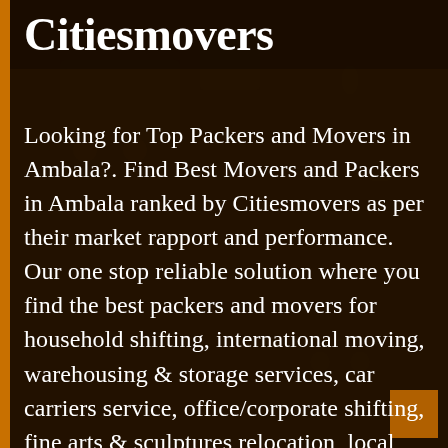Citiesmovers
Looking for Top Packers and Movers in Ambala?. Find Best Movers and Packers in Ambala ranked by Citiesmovers as per their market rapport and performance. Our one stop reliable solution where you find the best packers and movers for household shifting, international moving, warehousing & storage services, car carriers service, office/corporate shifting, fine arts & sculptures relocation, local shifting, long distance shifting and more. Here you can find all the top performing packers and movers companies in